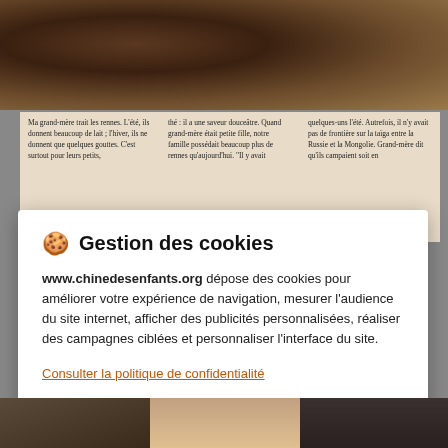[Figure (photo): Dark brown photo strip at top of page, appears to show an animal or nature scene]
Ma grand-mère trait les rennes. L'été, ils donnent beaucoup de lait ; l'hiver, ils ne donnent que quelques gouttes. C'est surtout pour leurs petits,
thé : il a une saveur douceâtre. Quand grand-mère était petite fille, notre famille possédait beaucoup plus de rennes qu'aujourd'hui. "Il y avait
quelques-uns l'été. Autrefois, il n'y avait pas de frontière sur la taïga entre la Russie et la Mongolie. Grand-mère dit qu'ils campaient soit en
🍪 Gestion des cookies
www.chinedesenfants.org dépose des cookies pour améliorer votre expérience de navigation, mesurer l'audience du site internet, afficher des publicités personnalisées, réaliser des campagnes ciblées et personnaliser l'interface du site.
Consulter la politique de confidentialité
Refuser
Paramétrer
Accepter
[Figure (photo): Bottom strip showing partial photos of people]